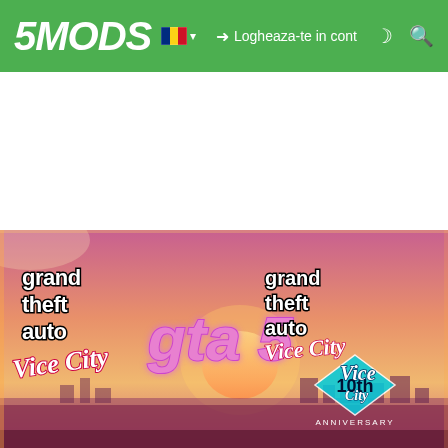5MODS — Logheaza-te in cont
[Figure (screenshot): 5MODS website header with green navigation bar showing logo '5MODS', Romanian flag dropdown, 'Logheaza-te in cont' login link, moon icon, and search icon]
[Figure (illustration): GTA 5 Vice City themed banner showing Grand Theft Auto Vice City logo on the left, 'gta 5' text in pink in the center, and Grand Theft Auto Vice City 10th Anniversary logo on the right, set against a pink/orange sunset skyline background]